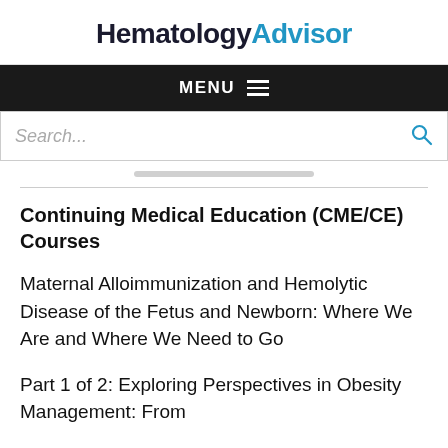HematologyAdvisor
MENU
Search...
Continuing Medical Education (CME/CE) Courses
Maternal Alloimmunization and Hemolytic Disease of the Fetus and Newborn: Where We Are and Where We Need to Go
Part 1 of 2: Exploring Perspectives in Obesity Management: From